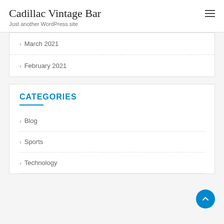Cadillac Vintage Bar
Just another WordPress site
March 2021
February 2021
CATEGORIES
Blog
Sports
Technology